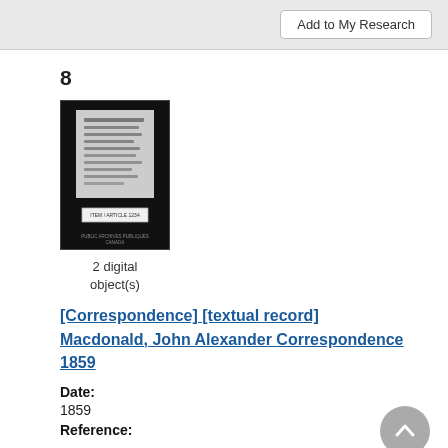Add to My Research
8
[Figure (photo): Thumbnail of a document: a microfilm/archival photograph showing a handwritten letter on a light background, with a label box and 'Public Archives / Archives Publiques Canada' text at the bottom. Dark border around image.]
2 digital object(s)
[Correspondence] [textual record] Macdonald, John Alexander Correspondence 1859
Date:
1859
Reference: